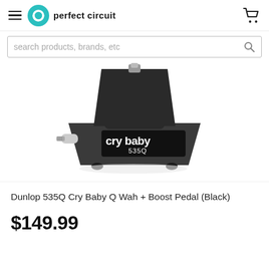perfect circuit
search products, brands, etc
[Figure (photo): Dunlop 535Q Cry Baby wah pedal in black, viewed from the side/front showing the 'cry baby 535Q' logo label on the body, with a metal jack on the left side and the rocker mechanism visible at top.]
Dunlop 535Q Cry Baby Q Wah + Boost Pedal (Black)
$149.99